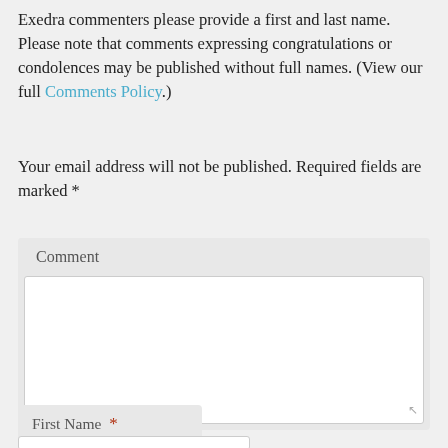Exedra commenters please provide a first and last name. Please note that comments expressing congratulations or condolences may be published without full names. (View our full Comments Policy.)
Your email address will not be published. Required fields are marked *
Comment
First Name *